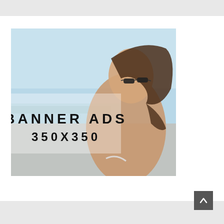[Figure (illustration): A banner ad placeholder image (350x350) showing a woman at the beach wearing sunglasses, with overlaid text 'BANNER ADS' and '350X350' in bold spaced letters]